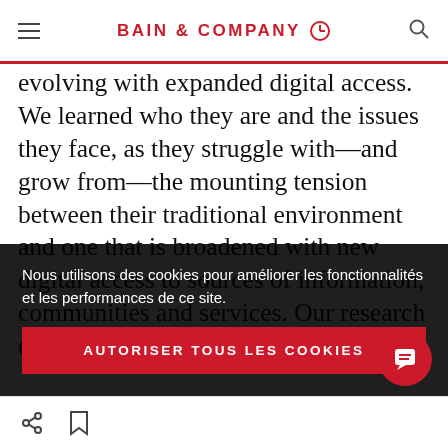BAIN & COMPANY
evolving with expanded digital access. We learned who they are and the issues they face, as they struggle with—and grow from—the mounting tension between their traditional environment and one that is broadened with new digital access to sources of information, communities and services. Our research enabled
Nous utilisons des cookies pour améliorer les fonctionnalités et les performances de ce site.
AUTORISER TOUS LES COOKIES